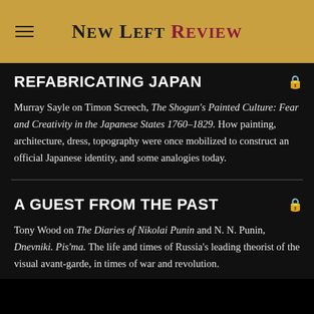New Left Review
REFABRICATING JAPAN
Murray Sayle on Timon Screech, The Shogun's Painted Culture: Fear and Creativity in the Japanese States 1760–1829. How painting, architecture, dress, topography were once mobilized to construct an official Japanese identity, and some analogies today.
A GUEST FROM THE PAST
Tony Wood on The Diaries of Nikolai Punin and N. N. Punin, Dnevniki. Pis'ma. The life and times of Russia's leading theorist of the visual avant-garde, in times of war and revolution.